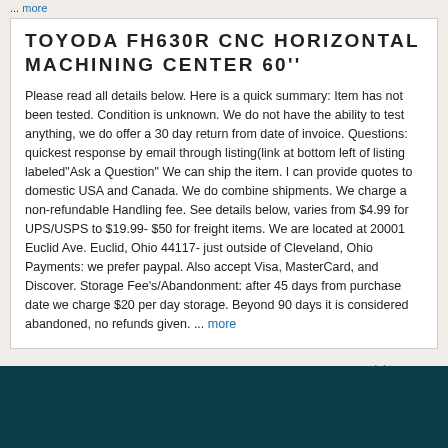... more
TOYODA FH630r CNC HORIZONTAL MACHINING CENTER 60''
Please read all details below. Here is a quick summary: Item has not been tested. Condition is unknown. We do not have the ability to test anything, we do offer a 30 day return from date of invoice. Questions: quickest response by email through listing(link at bottom left of listing labeled"Ask a Question" We can ship the item. I can provide quotes to domestic USA and Canada. We do combine shipments. We charge a non-refundable Handling fee. See details below, varies from $4.99 for UPS/USPS to $19.99- $50 for freight items. We are located at 20001 Euclid Ave. Euclid, Ohio 44117- just outside of Cleveland, Ohio Payments: we prefer paypal. Also accept Visa, MasterCard, and Discover. Storage Fee's/Abandonment: after 45 days from purchase date we charge $20 per day storage. Beyond 90 days it is considered abandoned, no refunds given. ... more
[Figure (logo): eBay logo with 'right now on' tagline]